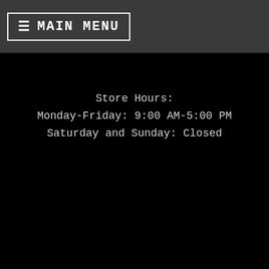≡ MAIN MENU
Store Hours:
Monday-Friday: 9:00 AM-5:00 PM
Saturday and Sunday: Closed